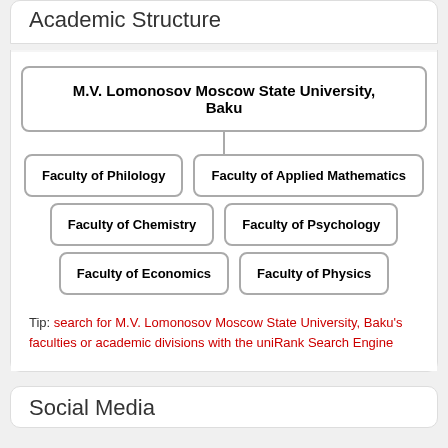Academic Structure
[Figure (organizational-chart): Organizational chart showing M.V. Lomonosov Moscow State University, Baku as the root node, with six faculty branches: Faculty of Philology, Faculty of Applied Mathematics, Faculty of Chemistry, Faculty of Psychology, Faculty of Economics, Faculty of Physics]
Tip: search for M.V. Lomonosov Moscow State University, Baku's faculties or academic divisions with the uniRank Search Engine
Social Media